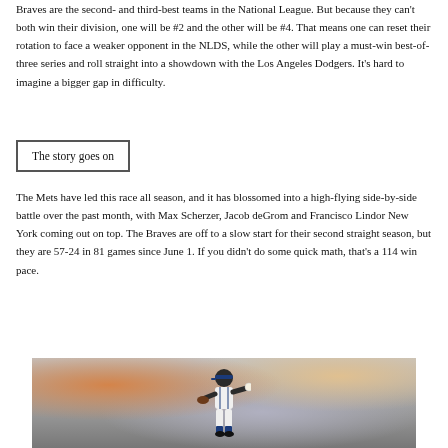Braves are the second- and third-best teams in the National League. But because they can't both win their division, one will be #2 and the other will be #4. That means one can reset their rotation to face a weaker opponent in the NLDS, while the other will play a must-win best-of-three series and roll straight into a showdown with the Los Angeles Dodgers. It's hard to imagine a bigger gap in difficulty.
The story goes on
The Mets have led this race all season, and it has blossomed into a high-flying side-by-side battle over the past month, with Max Scherzer, Jacob deGrom and Francisco Lindor New York coming out on top. The Braves are off to a slow start for their second straight season, but they are 57-24 in 81 games since June 1. If you didn't do some quick math, that's a 114 win pace.
[Figure (photo): Baseball pitcher in a Mets uniform mid-throw on the mound, with blurred crowd in the background]